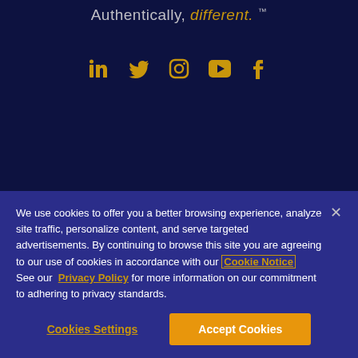Authentically, different. ™
[Figure (illustration): Social media icons: LinkedIn, Twitter, Instagram, YouTube, Facebook in gold/amber color on dark navy background]
ABOUT US
Our Team
We use cookies to offer you a better browsing experience, analyze site traffic, personalize content, and serve targeted advertisements. By continuing to browse this site you are agreeing to our use of cookies in accordance with our Cookie Notice
See our Privacy Policy for more information on our commitment to adhering to privacy standards.
Cookies Settings
Accept Cookies